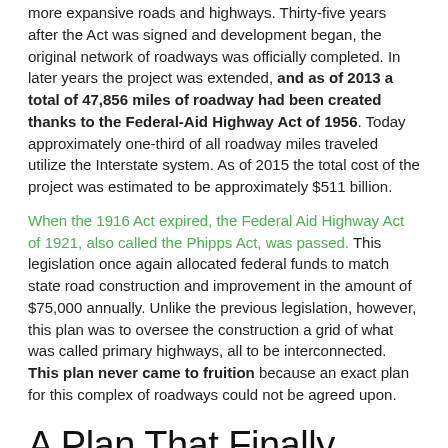more expansive roads and highways. Thirty-five years after the Act was signed and development began, the original network of roadways was officially completed. In later years the project was extended, and as of 2013 a total of 47,856 miles of roadway had been created thanks to the Federal-Aid Highway Act of 1956. Today approximately one-third of all roadway miles traveled utilize the Interstate system. As of 2015 the total cost of the project was estimated to be approximately $511 billion.
When the 1916 Act expired, the Federal Aid Highway Act of 1921, also called the Phipps Act, was passed. This legislation once again allocated federal funds to match state road construction and improvement in the amount of $75,000 annually. Unlike the previous legislation, however, this plan was to oversee the construction a grid of what was called primary highways, all to be interconnected. This plan never came to fruition because an exact plan for this complex of roadways could not be agreed upon.
A Plan That Finally Made It All Happen